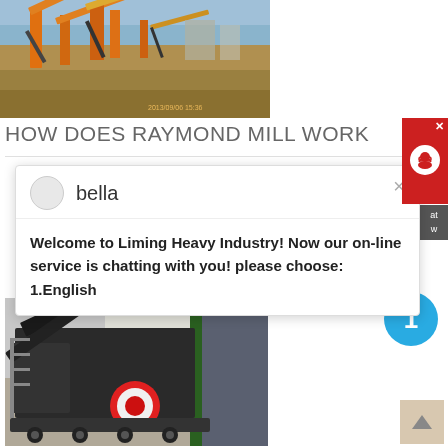[Figure (photo): Outdoor mining/crushing plant with orange machinery conveyors and gravel piles under a cloudy sky]
HOW DOES RAYMOND MILL WORK
[Figure (screenshot): Chat popup from Liming Heavy Industry with user 'bella' and welcome message]
by the vibration feeder.
get price
[Figure (photo): Indoor mobile crushing machine on a trailer in a warehouse setting]
[Figure (other): Red customer support button with headset icon in top right corner]
[Figure (other): Blue circle with number 1 indicating chat notification]
[Figure (other): Back to top button with upward arrow]